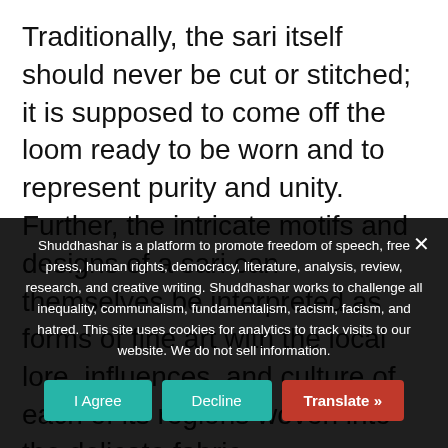Traditionally, the sari itself should never be cut or stitched; it is supposed to come off the loom ready to be worn and to represent purity and unity. Further, the intricate motifs and designs of a sari can themselves be interpreted as forms of fine art with the local lore, influences, and culture of each of its regions woven into the delicate fabric.

From the Kanchipuram region of Tamil Nadu comes the famous Kanieevaram sari woven
Shuddhashar is a platform to promote freedom of speech, free press, human rights, democracy, literature, analysis, review, research, and creative writing. Shuddhashar works to challenge all inequality, communalism, fundamentalism, racism, facism, and hatred. This site uses cookies for analytics to track visits to our website. We do not sell information.